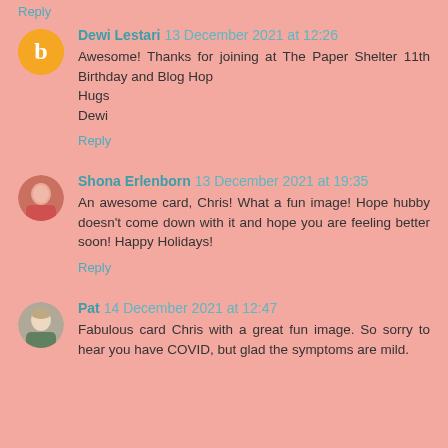Reply
Dewi Lestari  13 December 2021 at 12:26
Awesome! Thanks for joining at The Paper Shelter 11th Birthday and Blog Hop
Hugs
Dewi
Reply
Shona Erlenborn  13 December 2021 at 19:35
An awesome card, Chris! What a fun image! Hope hubby doesn't come down with it and hope you are feeling better soon! Happy Holidays!
Reply
Pat  14 December 2021 at 12:47
Fabulous card Chris with a great fun image. So sorry to hear you have COVID, but glad the symptoms are mild.